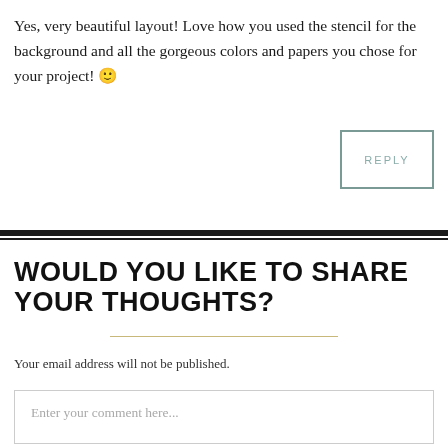Yes, very beautiful layout! Love how you used the stencil for the background and all the gorgeous colors and papers you chose for your project! 🙂
REPLY
WOULD YOU LIKE TO SHARE YOUR THOUGHTS?
Your email address will not be published.
Enter your comment here...